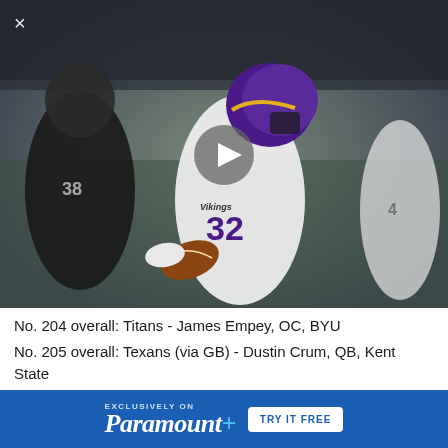[Figure (photo): Minnesota Vikings running back #32 in white uniform carrying football, being pursued by Raiders defender #98 in black uniform, stadium action shot]
No. 204 overall: Titans - James Empey, OC, BYU
No. 205 overall: Texans (via GB) - Dustin Crum, QB, Kent State
No. 206 overall: Ravens (from Broncos via mock trade) - Jaylen Watson, CB, Washington State
No. 207 overall: Texans (via SF) - Jaiven Heiligh, WR
[Figure (infographic): Paramount+ advertisement banner: EXCLUSIVELY ON Paramount+ TRY IT FREE]